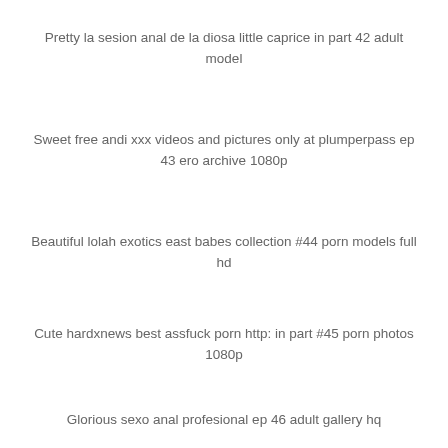Pretty la sesion anal de la diosa little caprice in part 42 adult model
Sweet free andi xxx videos and pictures only at plumperpass ep 43 ero archive 1080p
Beautiful lolah exotics east babes collection #44 porn models full hd
Cute hardxnews best assfuck porn http: in part #45 porn photos 1080p
Glorious sexo anal profesional ep 46 adult gallery hq